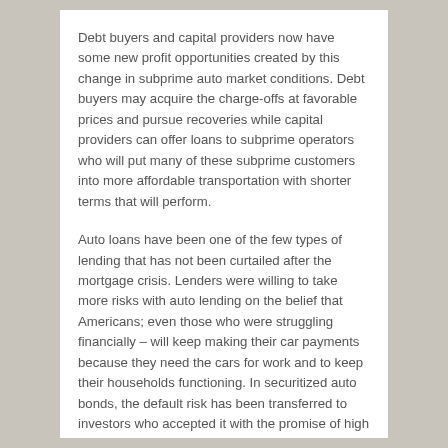Debt buyers and capital providers now have some new profit opportunities created by this change in subprime auto market conditions. Debt buyers may acquire the charge-offs at favorable prices and pursue recoveries while capital providers can offer loans to subprime operators who will put many of these subprime customers into more affordable transportation with shorter terms that will perform.
Auto loans have been one of the few types of lending that has not been curtailed after the mortgage crisis. Lenders were willing to take more risks with auto lending on the belief that Americans; even those who were struggling financially – will keep making their car payments because they need the cars for work and to keep their households functioning. In securitized auto bonds, the default risk has been transferred to investors who accepted it with the promise of high yields.
The pain suffered by the increased level of defaults in subprime auto finance can result in gains for